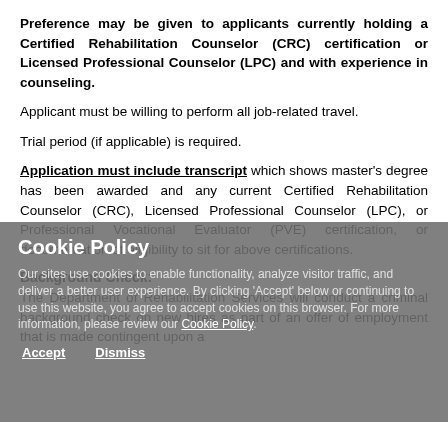Preference may be given to applicants currently holding a Certified Rehabilitation Counselor (CRC) certification or Licensed Professional Counselor (LPC) and with experience in counseling.
Applicant must be willing to perform all job-related travel.
Trial period (if applicable) is required.
Application must include transcript which shows master's degree has been awarded and any current Certified Rehabilitation Counselor (CRC), Licensed Professional Counselor (LPC), or Professional Vocational Evaluator (PVE) certification, or documentation of eligibility to sit for above certifications.
Background Check:
The Department of Rehabilitation Services will conduct a criminal background check on new hires as part of an offer of employment that is made contingent upon a
Cookie Policy
Our sites use cookies to enable functionality, analyze visitor traffic, and deliver a better user experience. By clicking 'Accept' below or continuing to use this website, you agree to accept cookies on this browser. For more information, please review our Cookie Policy.